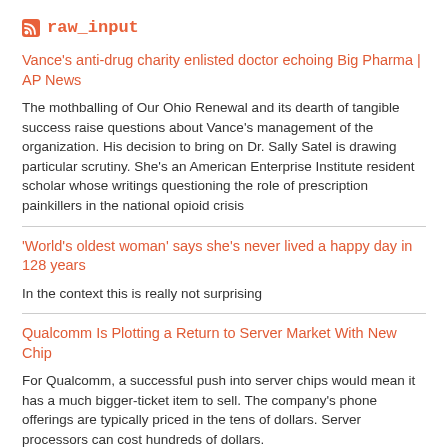raw_input
Vance's anti-drug charity enlisted doctor echoing Big Pharma | AP News
The mothballing of Our Ohio Renewal and its dearth of tangible success raise questions about Vance's management of the organization. His decision to bring on Dr. Sally Satel is drawing particular scrutiny. She's an American Enterprise Institute resident scholar whose writings questioning the role of prescription painkillers in the national opioid crisis
'World's oldest woman' says she's never lived a happy day in 128 years
In the context this is really not surprising
Qualcomm Is Plotting a Return to Server Market With New Chip
For Qualcomm, a successful push into server chips would mean it has a much bigger-ticket item to sell. The company's phone offerings are typically priced in the tens of dollars. Server processors can cost hundreds of dollars.